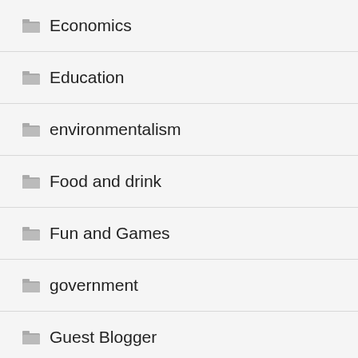Economics
Education
environmentalism
Food and drink
Fun and Games
government
Guest Blogger
Health care
History